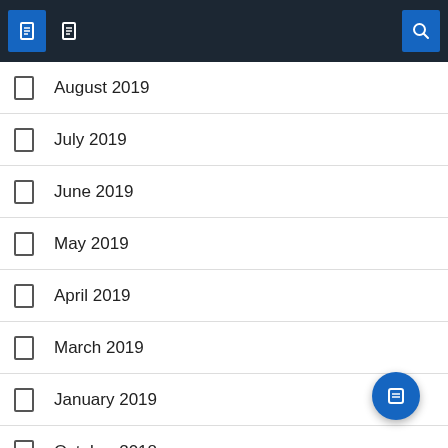Navigation bar with icons
August 2019
July 2019
June 2019
May 2019
April 2019
March 2019
January 2019
October 2018
September 2018
August 2018